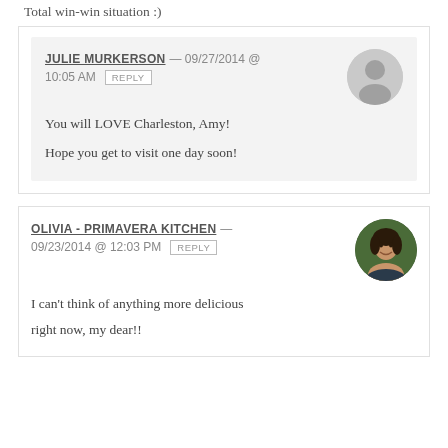Total win-win situation :)
JULIE MURKERSON — 09/27/2014 @ 10:05 AM REPLY
You will LOVE Charleston, Amy!
Hope you get to visit one day soon!
OLIVIA - PRIMAVERA KITCHEN — 09/23/2014 @ 12:03 PM REPLY
I can't think of anything more delicious right now, my dear!!